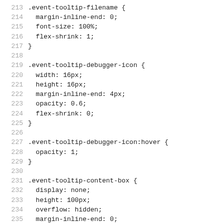Code listing lines 213-244 showing CSS rules for .event-tooltip-filename, .event-tooltip-debugger-icon, .event-tooltip-debugger-icon:hover, .event-tooltip-content-box, .event-toolbox-content-box iframe, .event-tooltip-content-box[open]